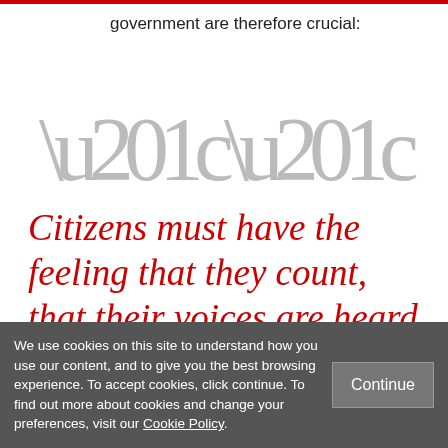government are therefore crucial:
[Figure (illustration): Large decorative opening quotation marks in gray]
Citizens must have the feeling that they count, that their voices are heard, and
We use cookies on this site to understand how you use our content, and to give you the best browsing experience. To accept cookies, click continue. To find out more about cookies and change your preferences, visit our Cookie Policy.